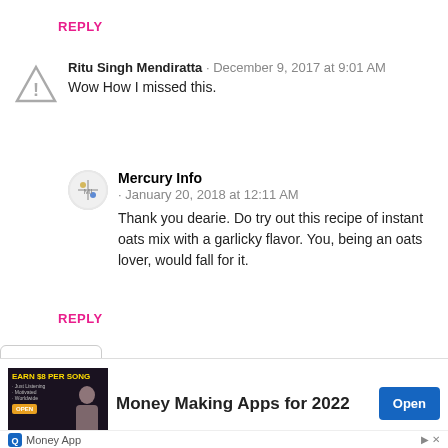REPLY
Ritu Singh Mendiratta · December 9, 2017 at 9:01 AM
Wow How I missed this.
Mercury Info · January 20, 2018 at 12:11 AM
Thank you dearie. Do try out this recipe of instant oats mix with a garlicky flavor. You, being an oats lover, would fall for it.
REPLY
[Figure (screenshot): Advertisement banner: EARN $8 PER SONG, Money Making Apps for 2022, Open button, Money App]